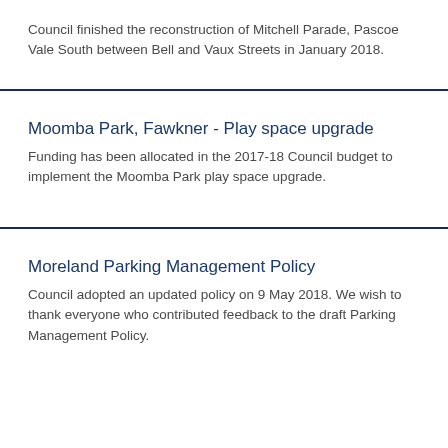Council finished the reconstruction of Mitchell Parade, Pascoe Vale South between Bell and Vaux Streets in January 2018.
Moomba Park, Fawkner - Play space upgrade
Funding has been allocated in the 2017-18 Council budget to implement the Moomba Park play space upgrade.
Moreland Parking Management Policy
Council adopted an updated policy on 9 May 2018. We wish to thank everyone who contributed feedback to the draft Parking Management Policy.